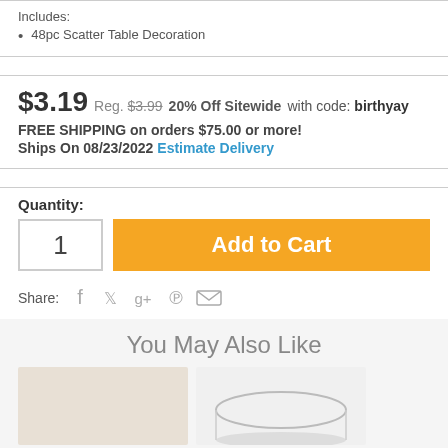Includes:
48pc Scatter Table Decoration
$3.19  Reg. $3.99  20% Off Sitewide with code: birthyay
FREE SHIPPING on orders $75.00 or more!
Ships On 08/23/2022 Estimate Delivery
Quantity:
1
Add to Cart
Share:
You May Also Like